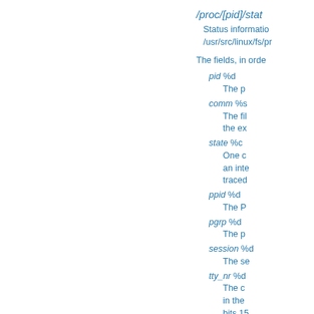/proc/[pid]/stat
Status information /usr/src/linux/fs/pr
The fields, in orde
pid %d
    The pr
comm %s
    The fil
    the ex
state %c
    One c
    an inte
    traced
ppid %d
    The P
pgrp %d
    The p
session %d
    The se
tty_nr %d
    The c
    in the
    bits 15